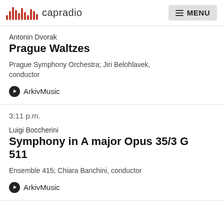capradio  MENU
Antonin Dvorak
Prague Waltzes
Prague Symphony Orchestra; Jiri Belohlavek, conductor
ArkivMusic
3:11 p.m.
Luigi Boccherini
Symphony in A major Opus 35/3 G 511
Ensemble 415; Chiara Banchini, conductor
ArkivMusic